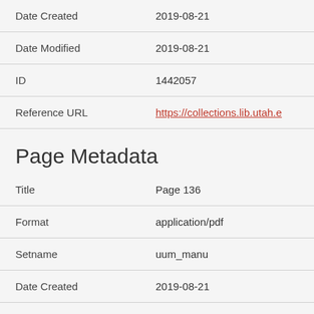| Field | Value |
| --- | --- |
| Date Created | 2019-08-21 |
| Date Modified | 2019-08-21 |
| ID | 1442057 |
| Reference URL | https://collections.lib.utah.e… |
Page Metadata
| Field | Value |
| --- | --- |
| Title | Page 136 |
| Format | application/pdf |
| Setname | uum_manu |
| Date Created | 2019-08-21 |